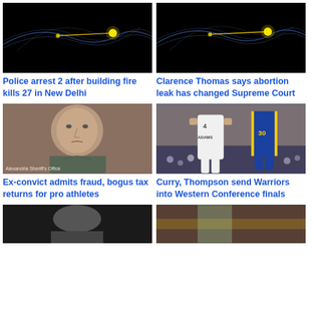[Figure (photo): Dark background with light trails and a glowing yellow dot — abstract or radar imagery]
Police arrest 2 after building fire kills 27 in New Delhi
[Figure (photo): Dark background with light trails and a glowing yellow dot — similar abstract imagery]
Clarence Thomas says abortion leak has changed Supreme Court
[Figure (photo): Mugshot of a man, watermark text: Alexandria Sheriff's Office]
Ex-convict admits fraud, bogus tax returns for pro athletes
[Figure (photo): Basketball game: player in white jersey #4 (ADAMS) and player in blue Golden State Warriors jersey jumping]
Curry, Thompson send Warriors into Western Conference finals
[Figure (photo): Partial view of a person, dark background]
[Figure (photo): Partial view of colorful scene, likely sports or event]